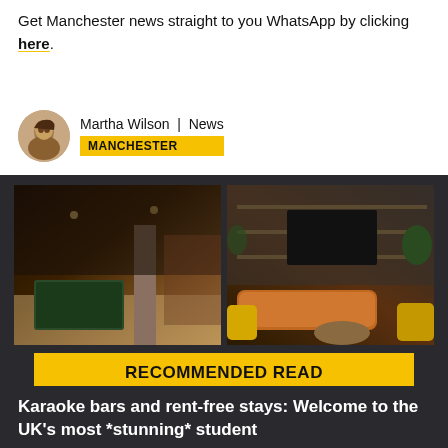Get Manchester news straight to you WhatsApp by clicking here.
Martha Wilson | News
MANCHESTER
[Figure (photo): Dark-themed card with two interior photos side by side: left shows an industrial-style bar/games room with pool table, right shows a lounge with orange leather Chesterfield sofa and yellow chairs]
RECOMMENDED READ
Karaoke bars and rent-free stays: Welcome to the UK's most *stunning* student